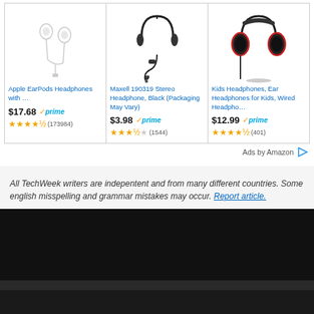[Figure (other): Amazon ad for Apple EarPods Headphones with price $17.68, Prime badge, 4.5 stars, (173984) reviews]
[Figure (other): Amazon ad for Maxell 190319 Stereo Headphone, Black (Packaging May Vary) with price $3.98, Prime badge, 3.5 stars, (1544) reviews]
[Figure (other): Amazon ad for Kids Headphones, Ear Headphones for Kids, Wired Headpho... with price $12.99, Prime badge, 4.5 stars, (401) reviews]
Ads by Amazon
All TechWeek writers are indepentent and from many different countries. Some english misspelling and grammar mistakes may occur. Report article.